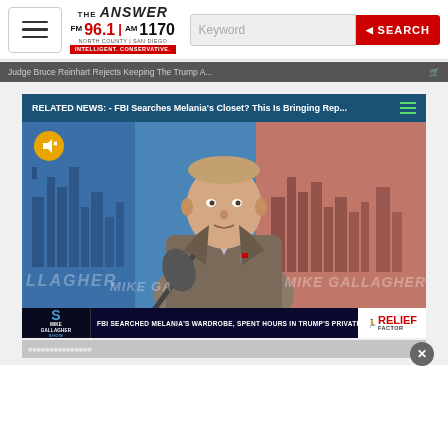THE ANSWER FM 96.1 AM 1170 NORTH COUNTY | SAN DIEGO INTELLIGENT. CONSERVATIVE.
Keyword
SEARCH
Judge Bruce Reinhart Rejects Keeping The Trump A...
RELATED NEWS: - FBI Searches Melania's Closet? This Is Bringing Rep...
[Figure (screenshot): Video frame showing Mike Gallagher at a radio microphone with city skyline backgrounds in blue and red tones, with MIKE GALLAGHER watermark text. Lower third shows 'FBI SEARCHED MELANIA'S WARDROBE, SPENT HOURS IN TRUMP'S PRIVATE OFFICE DURING MAR-A-LAGO RAID'. Relief Factor ad shown.]
FBI SEARCHED MELANIA'S WARDROBE, SPENT HOURS IN TRUMP'S PRIVATE OFFICE DURING MAR-A-LAGO RAID